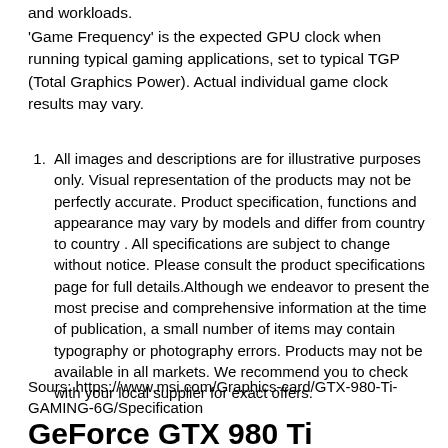and workloads.
'Game Frequency' is the expected GPU clock when running typical gaming applications, set to typical TGP (Total Graphics Power). Actual individual game clock results may vary.
All images and descriptions are for illustrative purposes only. Visual representation of the products may not be perfectly accurate. Product specification, functions and appearance may vary by models and differ from country to country . All specifications are subject to change without notice. Please consult the product specifications page for full details.Although we endeavor to present the most precise and comprehensive information at the time of publication, a small number of items may contain typography or photography errors. Products may not be available in all markets. We recommend you to check with your local supplier for exact offers.
Sours: https://www.msi.com/Graphics-card/GTX-980-Ti-GAMING-6G/Specification
GeForce GTX 980 Ti GAMING